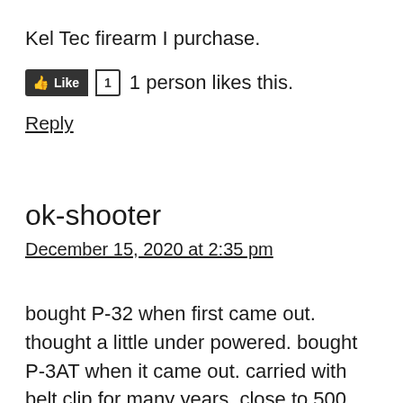Kel Tec firearm I purchase.
[Figure (screenshot): Like button with thumb icon and count of 1, followed by text '1 person likes this.']
Reply
ok-shooter
December 15, 2020 at 2:35 pm
bought P-32 when first came out. thought a little under powered. bought P-3AT when it came out. carried with belt clip for many years. close to 500 rounds without a feeding round